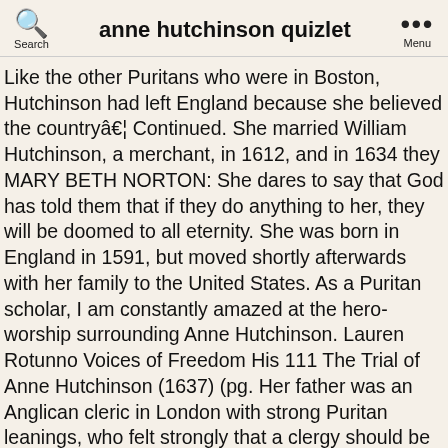anne hutchinson quizlet
Like the other Puritans who were in Boston, Hutchinson had left England because she believed the countryâ¦ Continued. She married William Hutchinson, a merchant, in 1612, and in 1634 they MARY BETH NORTON: She dares to say that God has told them that if they do anything to her, they will be doomed to all eternity. She was born in England in 1591, but moved shortly afterwards with her family to the United States. As a Puritan scholar, I am constantly amazed at the hero-worship surrounding Anne Hutchinson. Lauren Rotunno Voices of Freedom His 111 The Trial of Anne Hutchinson (1637) (pg. Her father was an Anglican cleric in London with strong Puritan leanings, who felt strongly that a clergy should be well educated and clashed with his superiors on this issue. See more. The major charges against Anne Hutchinson is that she spoke up against the puritan religion of the settlers. Choose from 500 different sets of term:anne hutchinson = a flashcards on Quizlet. Roger